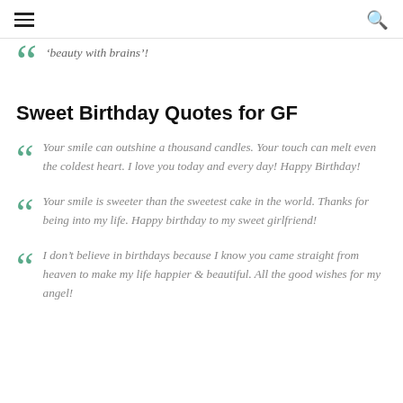[hamburger menu] [search icon]
‘beauty with brains’!
Sweet Birthday Quotes for GF
Your smile can outshine a thousand candles. Your touch can melt even the coldest heart. I love you today and every day! Happy Birthday!
Your smile is sweeter than the sweetest cake in the world. Thanks for being into my life. Happy birthday to my sweet girlfriend!
I don’t believe in birthdays because I know you came straight from heaven to make my life happier & beautiful. All the good wishes for my angel!